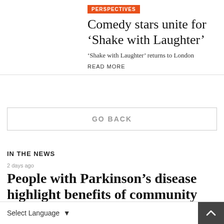PERSPECTIVES
Comedy stars unite for ‘Shake with Laughter’
‘Shake with Laughter’ returns to London
READ MORE
GO BACK
IN THE NEWS
2 days ago
People with Parkinson’s disease highlight benefits of community